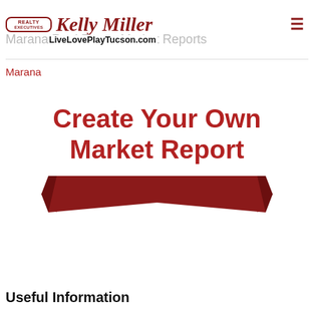Realty Executives Kelly Miller Arizona Territory
LiveLovePlayTucson.com
Marana Real Estate Market Reports
Marana
[Figure (infographic): Red bold text reading 'Create Your Own Market Report' above a dark red ribbon/banner graphic]
Useful Information